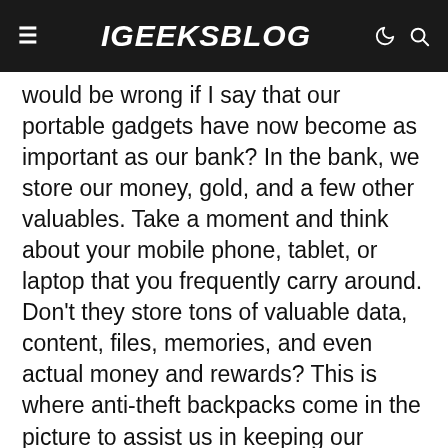iGEEKSBLOG
would be wrong if I say that our portable gadgets have now become as important as our bank? In the bank, we store our money, gold, and a few other valuables. Take a moment and think about your mobile phone, tablet, or laptop that you frequently carry around. Don't they store tons of valuable data, content, files, memories, and even actual money and rewards? This is where anti-theft backpacks come in the picture to assist us in keeping our devices safe and theft-proof.
Whether you are a student with a Chromebook and a tablet, whether you are a